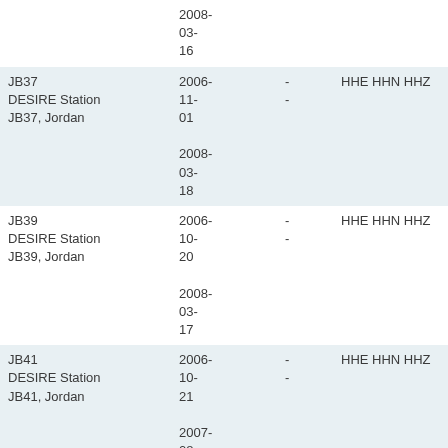| Station | Date Range |  | Channels |  |
| --- | --- | --- | --- | --- |
|  | 2008-03-16 |  |  |  |
| JB37
DESIRE Station JB37, Jordan | 2006-11-01
2008-03-18 | -
- | HHE HHN HHZ | A i |
| JB39
DESIRE Station JB39, Jordan | 2006-10-20
2008-03-17 | -
- | HHE HHN HHZ | A i |
| JB41
DESIRE Station JB41, Jordan | 2006-10-21
2007-08-28 | -
- | HHE HHN HHZ | A i |
| JB42
DESIRE Station | 2007-04-
- | -
- | HHE HHN HHZ | A i |